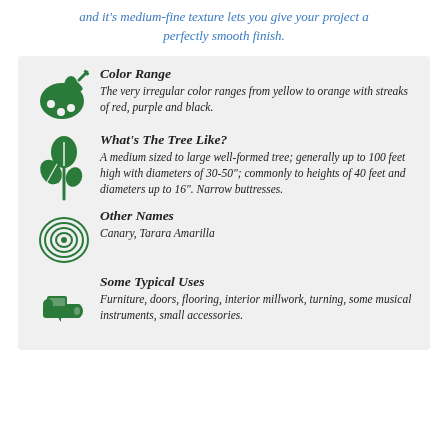and it's medium-fine texture lets you give your project a perfectly smooth finish.
[Figure (infographic): Infographic card with four sections: Color Range (palette icon), What's The Tree Like? (leaf/tree icon), Other Names (wood cross-section icon), Some Typical Uses (wood plane tool icon), each with descriptive text.]
Color Range
The very irregular color ranges from yellow to orange with streaks of red, purple and black.
What's The Tree Like?
A medium sized to large well-formed tree; generally up to 100 feet high with diameters of 30-50"; commonly to heights of 40 feet and diameters up to 16". Narrow buttresses.
Other Names
Canary, Tarara Amarilla
Some Typical Uses
Furniture, doors, flooring, interior millwork, turning, some musical instruments, small accessories.